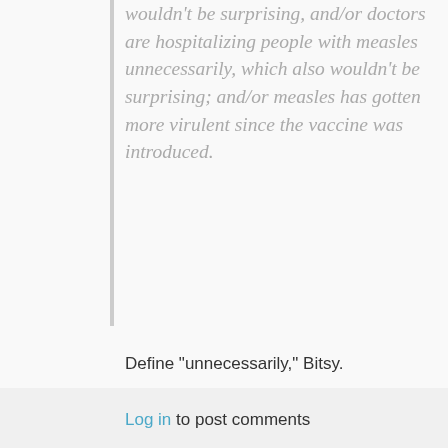wouldn't be surprising, and/or doctors are hospitalizing people with measles unnecessarily, which also wouldn't be surprising; and/or measles has gotten more virulent since the vaccine was introduced.
Define "unnecessarily," Bitsy.
Log in to post comments
By Narad (not verified) on 23 Aug 2017
#permalink
[Figure (illustration): User avatar icon — generic person silhouette in blue/teal color]
@Orac #72 - I'm not looking for a perfect study - those don't exist - I'm looking for an estimate of the number of serious adverse reactions to vaccines that would be expected from the active